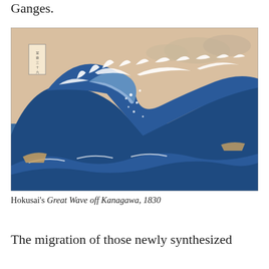Ganges.
[Figure (illustration): Hokusai's The Great Wave off Kanagawa woodblock print, 1830. Shows a towering ocean wave with foam-tipped claws curling over small boats, with Mount Fuji visible in the background. Blue, white, and beige color palette on a tan sky background.]
Hokusai's Great Wave off Kanagawa, 1830
The migration of those newly synthesized